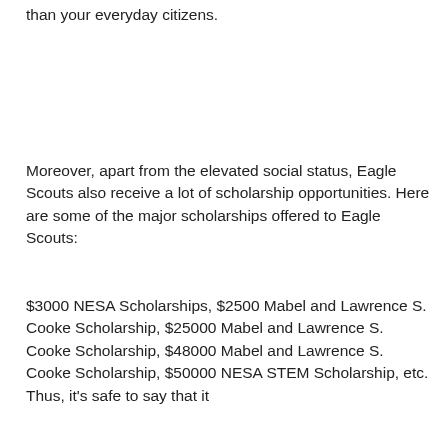than your everyday citizens.
Moreover, apart from the elevated social status, Eagle Scouts also receive a lot of scholarship opportunities. Here are some of the major scholarships offered to Eagle Scouts:
$3000 NESA Scholarships, $2500 Mabel and Lawrence S. Cooke Scholarship, $25000 Mabel and Lawrence S. Cooke Scholarship, $48000 Mabel and Lawrence S. Cooke Scholarship, $50000 NESA STEM Scholarship, etc. Thus, it's safe to say that it